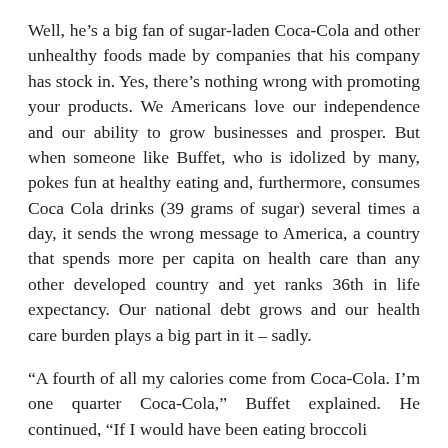Well, he's a big fan of sugar-laden Coca-Cola and other unhealthy foods made by companies that his company has stock in. Yes, there's nothing wrong with promoting your products. We Americans love our independence and our ability to grow businesses and prosper. But when someone like Buffet, who is idolized by many, pokes fun at healthy eating and, furthermore, consumes Coca Cola drinks (39 grams of sugar) several times a day, it sends the wrong message to America, a country that spends more per capita on health care than any other developed country and yet ranks 36th in life expectancy. Our national debt grows and our health care burden plays a big part in it – sadly.
“A fourth of all my calories come from Coca-Cola. I’m one quarter Coca-Cola,” Buffet explained. He continued, “If I would have been eating broccoli